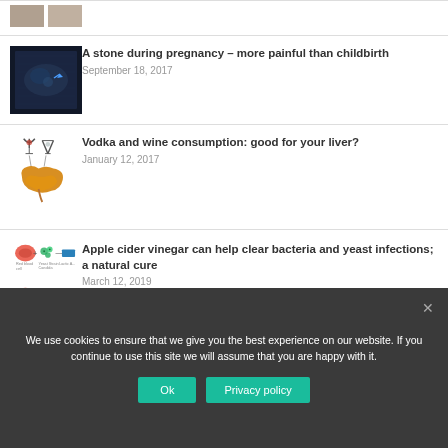[Figure (photo): Partial view of two small portrait thumbnails at top of page]
[Figure (photo): Ultrasound image - a stone during pregnancy]
A stone during pregnancy – more painful than childbirth
September 18, 2017
[Figure (illustration): Liver diagram with vodka and wine icons]
Vodka and wine consumption: good for your liver?
January 12, 2017
[Figure (illustration): Apple cider vinegar bacteria and yeast illustration]
Apple cider vinegar can help clear bacteria and yeast infections; a natural cure
March 12, 2019
We use cookies to ensure that we give you the best experience on our website. If you continue to use this site we will assume that you are happy with it.